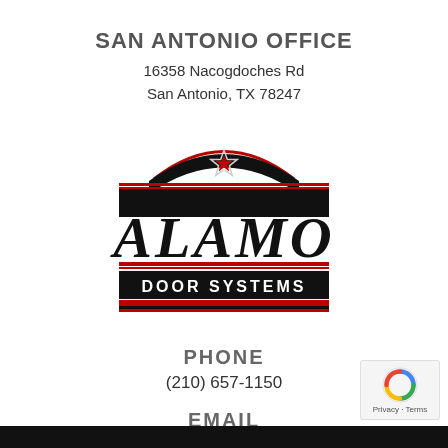SAN ANTONIO OFFICE
16358 Nacogdoches Rd
San Antonio, TX 78247
[Figure (logo): Alamo Door Systems logo: black banner with red borders, Texas star on top arch, ALAMO in large serif italic letters, DOOR SYSTEMS in black bar below]
PHONE
(210) 657-1150
EMAIL
jennifer@alamodoorsystems.com